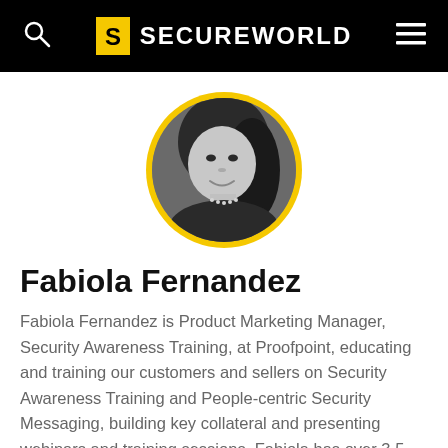SECUREWORLD
[Figure (photo): Black and white circular profile photo of Fabiola Fernandez with yellow circular border, smiling woman with long dark hair wearing a pearl necklace]
Fabiola Fernandez
Fabiola Fernandez is Product Marketing Manager, Security Awareness Training, at Proofpoint, educating and training our customers and sellers on Security Awareness Training and People-centric Security Messaging, building key collateral and presenting webinars and training sessions. Fabiola has over 3.5 years of experience in the cybersecurity industry and